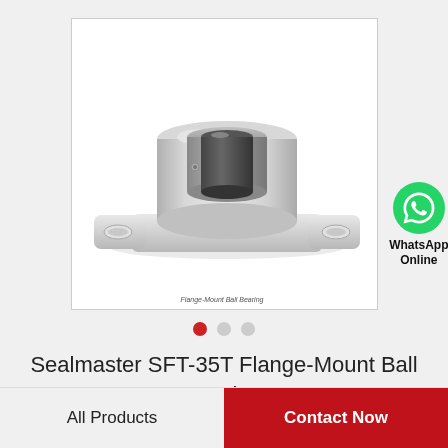[Figure (photo): Sealmaster SFT-35T Flange-Mount Ball Bearing product photo showing a silver/chrome two-bolt flange bearing unit with a circular bore, viewed from a front-top angle. The bearing has a rectangular base plate with two oval mounting holes on each side and a cylindrical housing in the center.]
Sealmaster SFT-35T Flange-Mount Ball Bearing
All Products
Contact Now